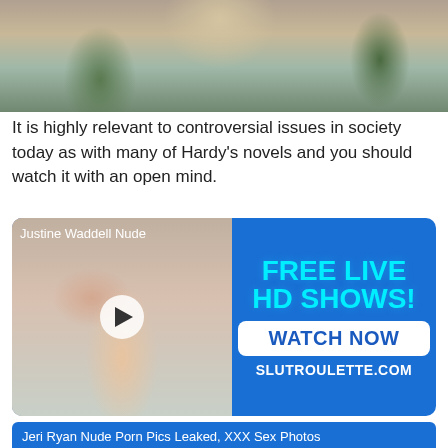[Figure (photo): Partial view of a person outdoors near water with plants/reeds in background]
It is highly relevant to controversial issues in society today as with many of Hardy's novels and you should watch it with an open mind.
[Figure (other): Advertisement banner with left side showing a person in swimwear in a hotel room with play button overlay, text 'Justine Waddell Nude'. Right side on blue background reads: FREE LIVE HD SHOWS! WATCH NOW SLUTROULETTE.COM]
Since watching, I have not only read the novel but most of Hardy's other novels.
[Figure (other): Bottom banner advertisement: Jeri Ryan Nude Porn Pics Leaked, XXX Sex Photos]